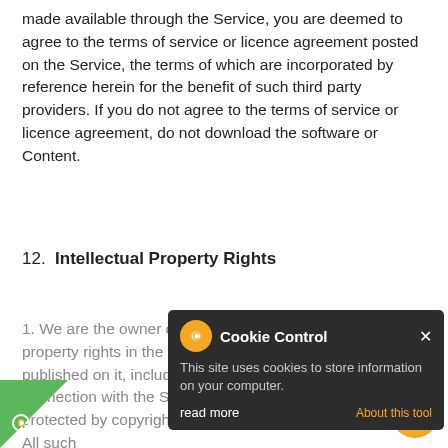made available through the Service, you are deemed to agree to the terms of service or licence agreement posted on the Service, the terms of which are incorporated by reference herein for the benefit of such third party providers. If you do not agree to the terms of service or licence agreement, do not download the software or Content.
12.  Intellectual Property Rights
1. We are the owner or the licensee of all intellectual property rights in the Service, Website, and in the material published on it, including all necessary software used in connection with the Service ("Software"). These works are protected by copyright laws and treaties around the world. All such
[Figure (screenshot): Cookie Control popup overlay with dark background, showing 'Cookie Control' title with orange gear icon, close X button, body text 'This site uses cookies to store information on your computer.', 'About this tool' link in orange, and 'read more' button.]
[Figure (other): Green triangular bottom-left corner with orange gear icon.]
[Figure (other): Orange circular chat button at bottom right.]